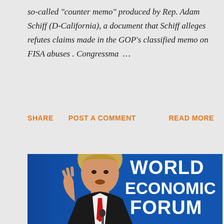so-called "counter memo" produced by Rep. Adam Schiff (D-California), a document that Schiff alleges refutes claims made in the GOP's classified memo on FISA abuses . Congressma ...
SHARE   POST A COMMENT   READ MORE
[Figure (photo): A person speaking at a podium in front of a blue World Economic Forum banner with large white letters reading WORLD ECONOMIC FORUM]